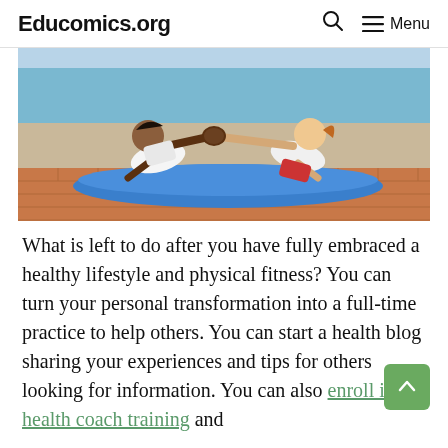Educomics.org   🔍   ☰ Menu
[Figure (photo): Two women doing push-ups on a blue yoga mat outdoors on a brick surface, high-fiving each other while in plank position]
What is left to do after you have fully embraced a healthy lifestyle and physical fitness? You can turn your personal transformation into a full-time practice to help others. You can start a health blog sharing your experiences and tips for others looking for information. You can also enroll in health coach training and